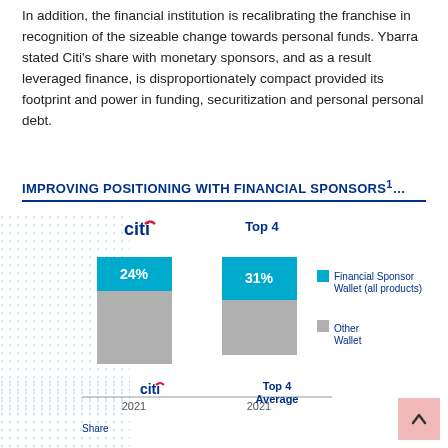changeover.
In addition, the financial institution is recalibrating the franchise in recognition of the sizeable change towards personal funds. Ybarra stated Citi’s share with monetary sponsors, and as a result leveraged finance, is disproportionately compact provided its footprint and power in funding, securitization and personal personal debt.
IMPROVING POSITIONING WITH FINANCIAL SPONSORS¹…
[Figure (stacked-bar-chart): Improving Positioning with Financial Sponsors]
[Figure (grouped-bar-chart): Sponsor Wallet Share]